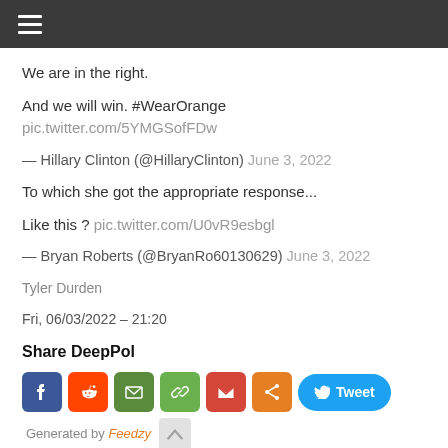Navigation bar with hamburger menu
We are in the right.
And we will win. #WearOrange pic.twitter.com/5YMGSofFDw
— Hillary Clinton (@HillaryClinton) June 3, 2022
To which she got the appropriate response...
Like this ? pic.twitter.com/U0vR9esbgl
— Bryan Roberts (@BryanRo60130629) June 3, 2022
Tyler Durden
Fri, 06/03/2022 – 21:20
Share DeepPol
Share buttons: Facebook, Reddit, Email, Link, Gmail, Share, Tweet — Generated by Feedzy